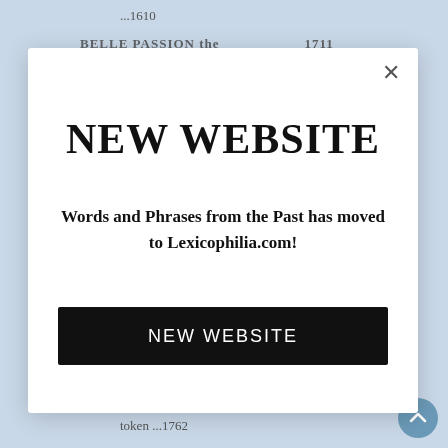...1610
BELLE PASSION the...1711
[Figure (screenshot): Modal dialog popup with white background over a light blue webpage. Contains a close (×) button, large bold serif heading 'NEW WEBSITE', body text 'Words and Phrases from the Past has moved to Lexicophilia.com!', and a black button labeled 'NEW WEBSITE'.]
NEW WEBSITE
Words and Phrases from the Past has moved to Lexicophilia.com!
NEW WEBSITE
token ...1762